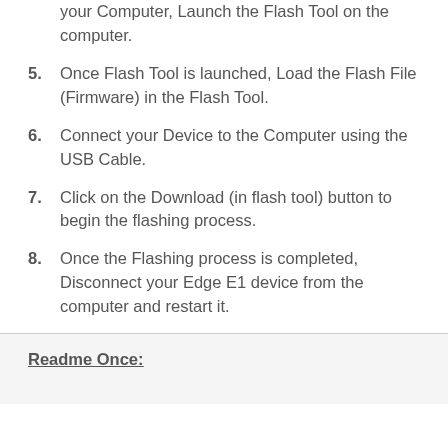4. Once you have successfully installed the USB Driver on your Computer, Launch the Flash Tool on the computer.
5. Once Flash Tool is launched, Load the Flash File (Firmware) in the Flash Tool.
6. Connect your Device to the Computer using the USB Cable.
7. Click on the Download (in flash tool) button to begin the flashing process.
8. Once the Flashing process is completed, Disconnect your Edge E1 device from the computer and restart it.
Readme Once: